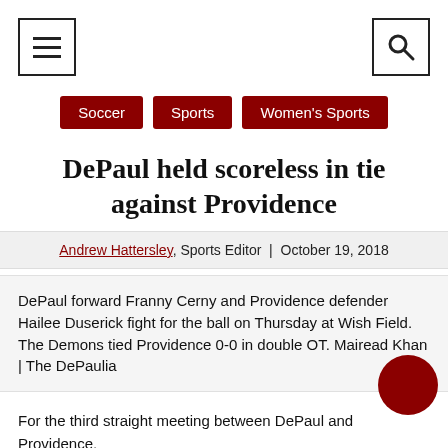[Figure (other): Navigation bar with hamburger menu icon on the left and search (magnifying glass) icon on the right, both in bordered boxes]
Soccer
Sports
Women's Sports
DePaul held scoreless in tie against Providence
Andrew Hattersley, Sports Editor | October 19, 2018
DePaul forward Franny Cerny and Providence defender Hailee Duserick fight for the ball on Thursday at Wish Field. The Demons tied Providence 0-0 in double OT. Mairead Khan | The DePaulia
For the third straight meeting between DePaul and Providence,